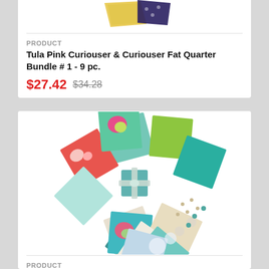[Figure (photo): Top portion of a fabric fat quarter bundle product image, partially cropped at top of page]
PRODUCT
Tula Pink Curiouser & Curiouser Fat Quarter Bundle # 1 - 9 pc.
$27.42 $34.28
[Figure (photo): Tula Pink Curiouser & Curiouser Fat Quarter Bundle #2 - colorful quilting fabric squares in green, teal, floral and patterned prints, fanned out and tied with a silver ribbon]
PRODUCT
Tula Pink Curiouser & Curiouser Fat Quarter Bundle # 2 - 8